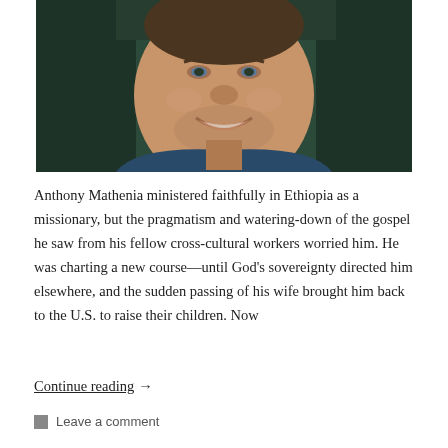[Figure (photo): Close-up portrait photo of a smiling middle-aged man with light stubble, wearing a dark blue shirt, photographed outdoors with a blurred dark green background.]
Anthony Mathenia ministered faithfully in Ethiopia as a missionary, but the pragmatism and watering-down of the gospel he saw from his fellow cross-cultural workers worried him. He was charting a new course—until God's sovereignty directed him elsewhere, and the sudden passing of his wife brought him back to the U.S. to raise their children. Now
Continue reading →
Leave a comment